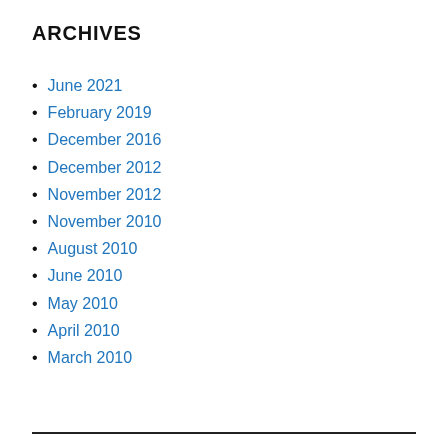ARCHIVES
June 2021
February 2019
December 2016
December 2012
November 2012
November 2010
August 2010
June 2010
May 2010
April 2010
March 2010